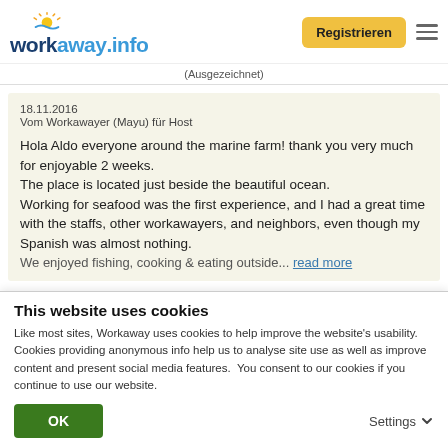workaway.info — Registrieren
(Ausgezeichnet)
18.11.2016
Vom Workawayer (Mayu) für Host

Hola Aldo everyone around the marine farm! thank you very much for enjoyable 2 weeks.
The place is located just beside the beautiful ocean.
Working for seafood was the first experience, and I had a great time with the staffs, other workawayers, and neighbors, even though my Spanish was almost nothing.
We enjoyed fishing, cooking & eating outside... read more
This website uses cookies
Like most sites, Workaway uses cookies to help improve the website's usability. Cookies providing anonymous info help us to analyse site use as well as improve content and present social media features.  You consent to our cookies if you continue to use our website.
OK
Settings